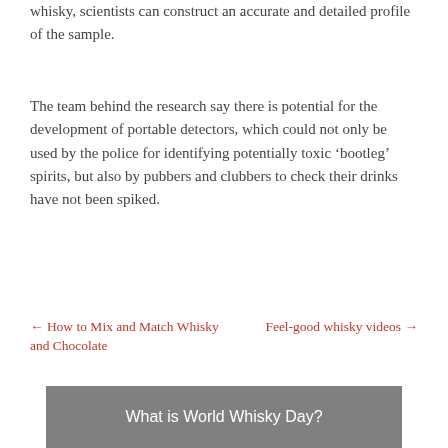whisky, scientists can construct an accurate and detailed profile of the sample.
The team behind the research say there is potential for the development of portable detectors, which could not only be used by the police for identifying potentially toxic ‘bootleg’ spirits, but also by pubbers and clubbers to check their drinks have not been spiked.
← How to Mix and Match Whisky and Chocolate
Feel-good whisky videos →
What is World Whisky Day?